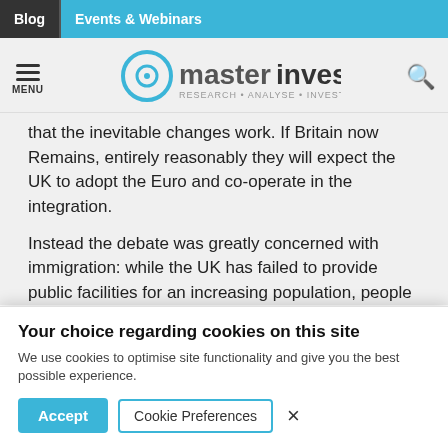Blog | Events & Webinars
[Figure (logo): Master Investor logo with tagline RESEARCH • ANALYSE • INVEST]
that the inevitable changes work. If Britain now Remains, entirely reasonably they will expect the UK to adopt the Euro and co-operate in the integration.
Instead the debate was greatly concerned with immigration: while the UK has failed to provide public facilities for an increasing population, people
Your choice regarding cookies on this site
We use cookies to optimise site functionality and give you the best possible experience.